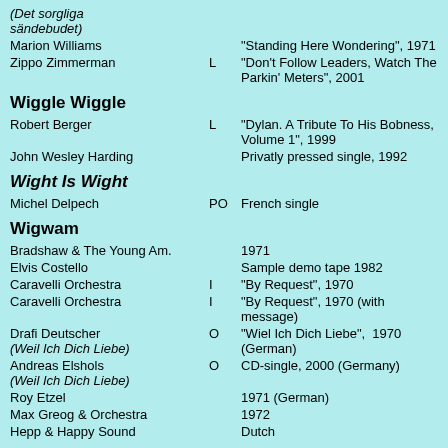(Det sorgliga sändebudet)
Marion Williams | | "Standing Here Wondering", 1971
Zippo Zimmerman | L | "Don't Follow Leaders, Watch The Parkin' Meters", 2001
Wiggle Wiggle
Robert Berger | L | "Dylan. A Tribute To His Bobness, Volume 1", 1999
John Wesley Harding | | Privatly pressed single, 1992
Wight Is Wight
Michel Delpech | PO | French single
Wigwam
Bradshaw & The Young Am. | | 1971
Elvis Costello | | Sample demo tape 1982
Caravelli Orchestra | I | "By Request", 1970
Caravelli Orchestra | I | "By Request", 1970 (with message)
Drafi Deutscher (Weil Ich Dich Liebe) | O | "Wiel Ich Dich Liebe", 1970 (German)
Andreas Elshols (Weil Ich Dich Liebe) | O | CD-single, 2000 (Germany)
Roy Etzel | | 1971 (German)
Max Greog & Orchestra | | 1972
Hepp & Happy Sound | | Dutch